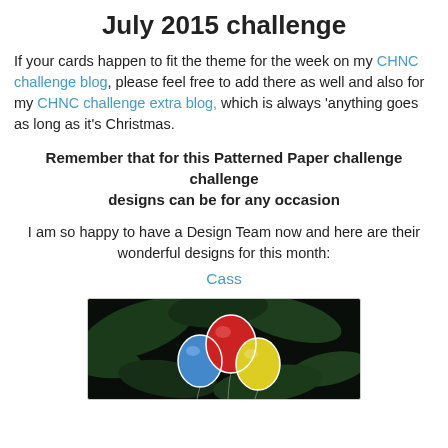July 2015 challenge
If your cards happen to fit the theme for the week on my CHNC challenge blog, please feel free to add there as well and also for my CHNC challenge extra blog, which is always 'anything goes as long as it's Christmas.
Remember that for this Patterned Paper challenge
designs can be for any occasion
I am so happy to have a Design Team now and here are their wonderful designs for this month:
Cass
[Figure (photo): Photo of colorful balloons (red, blue, yellow) against a dark green leafy background]